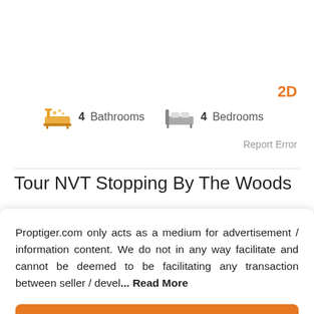2D
4 Bathrooms   4 Bedrooms
Report Error
Tour NVT Stopping By The Woods
Proptiger.com only acts as a medium for advertisement / information content. We do not in any way facilitate and cannot be deemed to be facilitating any transaction between seller / devel... Read More
Okay, Got It